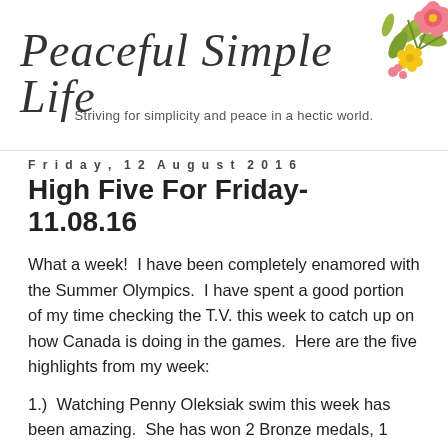[Figure (illustration): Floral decoration with pink flowers, yellow flower, and green leaves in the top-right corner of the header]
Peaceful Simple Life
Striving for simplicity and peace in a hectic world.
Friday, 12 August 2016
High Five For Friday- 11.08.16
What a week!  I have been completely enamored with the Summer Olympics.  I have spent a good portion of my time checking the T.V. this week to catch up on how Canada is doing in the games.  Here are the five highlights from my week:
1.)  Watching Penny Oleksiak swim this week has been amazing.  She has won 2 Bronze medals, 1 Silver and 1 Gold!  She is only 16 years old and I am completely blown away by her talent.  Miss. E was as excited as we were to